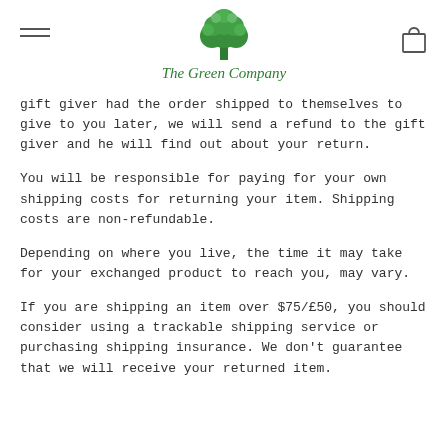The Green Company
gift giver had the order shipped to themselves to give to you later, we will send a refund to the gift giver and he will find out about your return.
You will be responsible for paying for your own shipping costs for returning your item. Shipping costs are non-refundable.
Depending on where you live, the time it may take for your exchanged product to reach you, may vary.
If you are shipping an item over $75/£50, you should consider using a trackable shipping service or purchasing shipping insurance. We don't guarantee that we will receive your returned item.